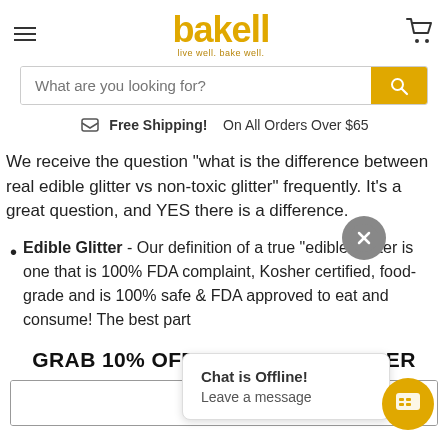[Figure (logo): Bakell logo with text 'live well. bake well.' in gold/yellow color]
[Figure (other): Search bar with 'What are you looking for?' placeholder and gold search button]
Free Shipping! On All Orders Over $65
We receive the question "what is the difference between real edible glitter vs non-toxic glitter" frequently. It's a great question, and YES there is a difference.
Edible Glitter - Our definition of a true "edible" glitter is one that is 100% FDA complaint, Kosher certified, food-grade and is 100% safe & FDA approved to eat and consume! The best part
GRAB 10% OFF YOUR FIRST ORDER
Chat is Offline!
Leave a message